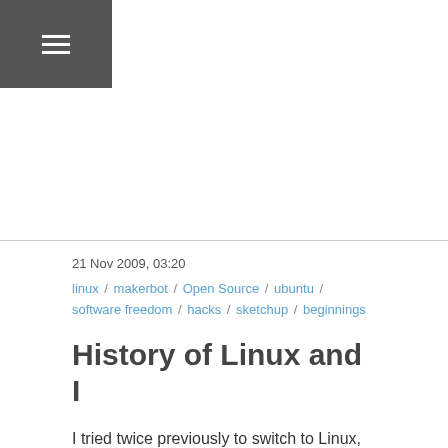[Figure (other): Dark grey hamburger menu icon bar in top-left corner]
21 Nov 2009, 03:20
linux / makerbot / Open Source / ubuntu / software freedom / hacks / sketchup / beginnings
History of Linux and I
I tried twice previously to switch to Linux, and for a few reasons didn't end up having any luck.